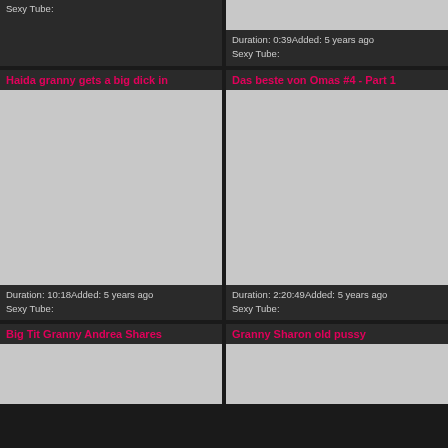Sexy Tube:
Duration: 0:39Added: 5 years ago
Sexy Tube:
Haida granny gets a big dick in
Das beste von Omas #4 - Part 1
[Figure (photo): Video thumbnail placeholder]
[Figure (photo): Video thumbnail placeholder]
Duration: 10:18Added: 5 years ago
Sexy Tube:
Duration: 2:20:49Added: 5 years ago
Sexy Tube:
Big Tit Granny Andrea Shares
Granny Sharon old pussy
[Figure (photo): Video thumbnail placeholder]
[Figure (photo): Video thumbnail placeholder]